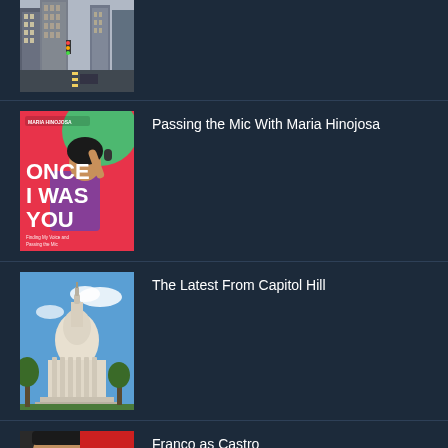[Figure (photo): City street scene, urban downtown with tall buildings]
[Figure (photo): Book cover: Maria Hinojosa - Once I Was You, with illustration of woman holding microphone]
Passing the Mic With Maria Hinojosa
[Figure (photo): Photo of the US Capitol building against blue sky]
The Latest From Capitol Hill
[Figure (photo): Photo related to Franco as Castro]
Franco as Castro